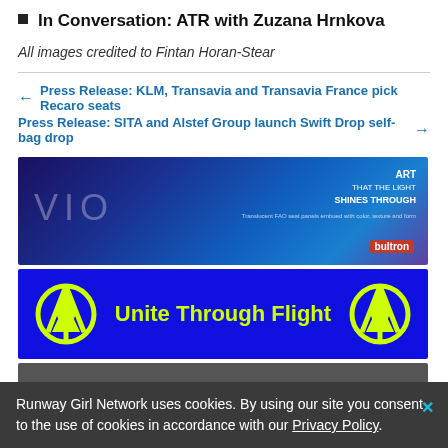In Conversation: ATR with Zuzana Hrnkova
All images credited to Fintan Horan-Stear
Press Release: KLM, Transavia and Transavia France pick Recaro seats
Press Release: SITA and Alstef Group launch Swift Drop self-bag drop
[Figure (advertisement): VIO advertisement banner with blue background, 'ART THAT THE LIGHT SHINES THROUGH' text and bultron logo]
[Figure (advertisement): Unite Through Flight blue banner with yellow peace-plane logos and yellow text]
[Figure (screenshot): Partial dark grey bar partially visible at bottom]
Runway Girl Network uses cookies. By using our site you consent to the use of cookies in accordance with our Privacy Policy.